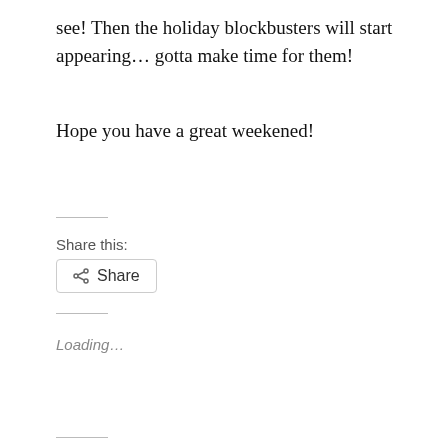see!  Then the holiday blockbusters will start appearing… gotta make time for them!
Hope you have a great weekened!
Share this:
Share
Loading…